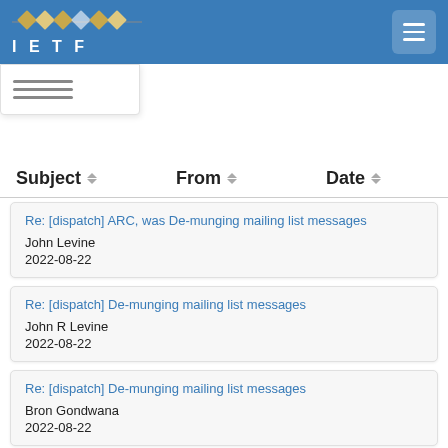IETF
| Subject | From | Date |
| --- | --- | --- |
| Re: [dispatch] ARC, was De-munging mailing list messages | John Levine | 2022-08-22 |
| Re: [dispatch] De-munging mailing list messages | John R Levine | 2022-08-22 |
| Re: [dispatch] De-munging mailing list messages | Bron Gondwana | 2022-08-22 |
| Re: [dispatch] De-munging mailing list messages | Grant Taylor |  |